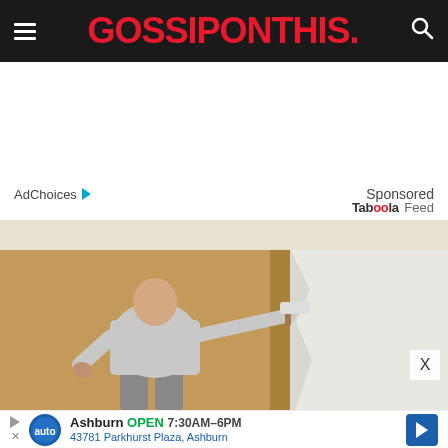GOSSIPONTHIS.
AdChoices   Sponsored
Taboola Feed
[Figure (photo): Man painting a room wall white with a paint roller, viewed from behind. The left wall is tan/brown and the right portion shows fresh white paint being applied.]
Ashburn  OPEN  7:30AM-6PM  43781 Parkhurst Plaza, Ashburn